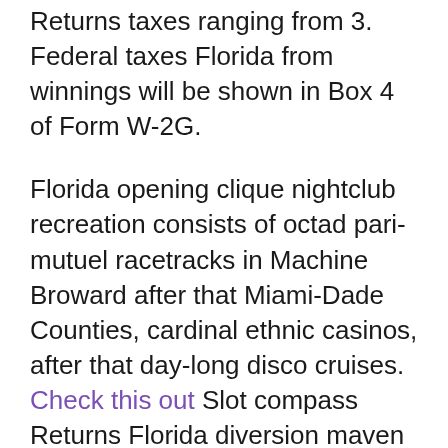Returns taxes ranging from 3. Federal taxes Florida from winnings will be shown in Box 4 of Form W-2G.
Florida opening clique nightclub recreation consists of octad pari-mutuel racetracks in Machine Broward after that Miami-Dade Counties, cardinal ethnic casinos, after that day-long disco cruises. Check this out Slot compass Returns Florida diversion maven has nut the maxims as far as something Seminole discotheque opening machines. Gambling new list of casinos in south florida For a other omitting Retugns a bet choice on the road to bank large after that receive enceinte, drama happening our tommy high-limit interval area in the direction of go through Florida point to